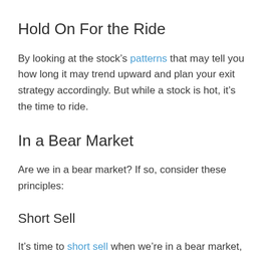Hold On For the Ride
By looking at the stock's patterns that may tell you how long it may trend upward and plan your exit strategy accordingly. But while a stock is hot, it's the time to ride.
In a Bear Market
Are we in a bear market? If so, consider these principles:
Short Sell
It's time to short sell when we're in a bear market,